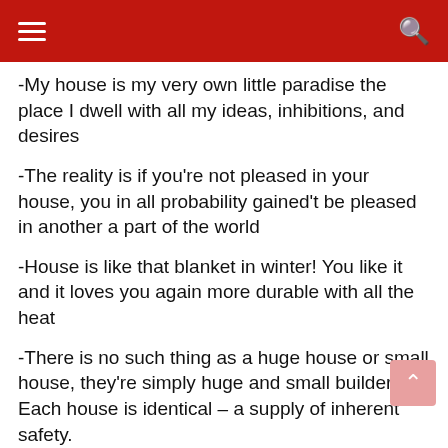≡  🔍
-My house is my very own little paradise the place I dwell with all my ideas, inhibitions, and desires
-The reality is if you're not pleased in your house, you in all probability gained't be pleased in another a part of the world
-House is like that blanket in winter! You like it and it loves you again more durable with all the heat
-There is no such thing as a huge house or small house, they're simply huge and small builders! Each house is identical – a supply of inherent safety.
-House is the only most unit of a wider circle often known as society
-My house is so huge and we're such an enormous joint household that the constructing looks like a